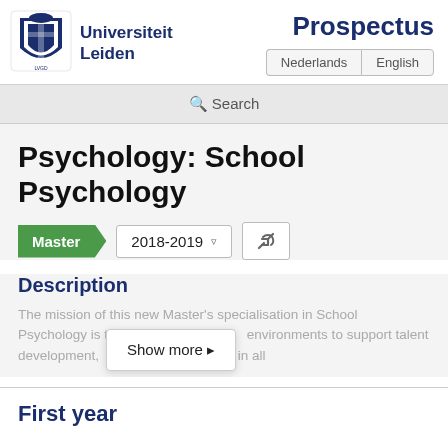[Figure (logo): Universiteit Leiden shield/crest logo]
Universiteit Leiden
Prospectus
Nederlands  English
🔍 Search
Psychology: School Psychology
Master  2018-2019
Description
The mission of this new Master's specialisation in School Psychology is to create environments to support talent development, facilitating in all
Show more 🔗
First year